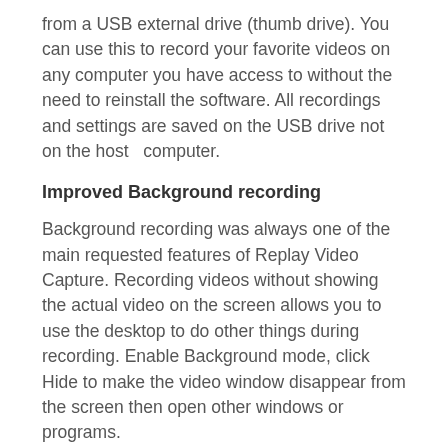from a USB external drive (thumb drive). You can use this to record your favorite videos on any computer you have access to without the need to reinstall the software. All recordings and settings are saved on the USB drive not on the host  computer.
Improved Background recording
Background recording was always one of the main requested features of Replay Video Capture. Recording videos without showing the actual video on the screen allows you to use the desktop to do other things during recording. Enable Background mode, click Hide to make the video window disappear from the screen then open other windows or programs.
Picture in Picture
When using the Background mode, enable the Picture